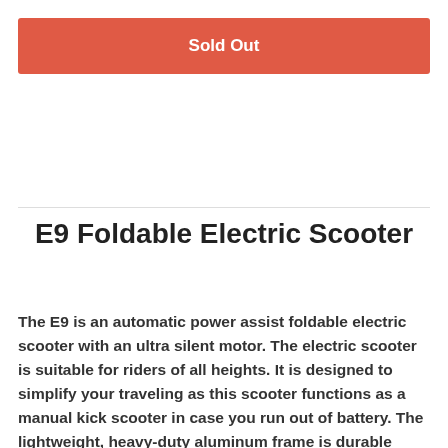[Figure (other): Red 'Sold Out' button banner]
E9 Foldable Electric Scooter
The E9 is an automatic power assist foldable electric scooter with an ultra silent motor. The electric scooter is suitable for riders of all heights. It is designed to simplify your traveling as this scooter functions as a manual kick scooter in case you run out of battery. The lightweight, heavy-duty aluminum frame is durable enough to last for years to come.